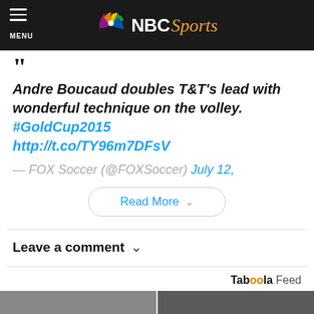NBC Sports
Andre Boucaud doubles T&T's lead with wonderful technique on the volley. #GoldCup2015 http://t.co/TY96m7DFsV
— FOX Soccer (@FOXSoccer) July 12,
Read More
Leave a comment
Taboola Feed
[Figure (photo): Street photo of a group of people on a city street]